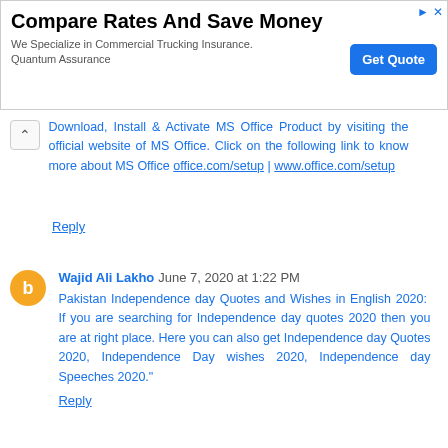[Figure (other): Advertisement banner: Compare Rates And Save Money - We Specialize in Commercial Trucking Insurance. Quantum Assurance. Get Quote button.]
Download, Install & Activate MS Office Product by visiting the official website of MS Office. Click on the following link to know more about MS Office office.com/setup | www.office.com/setup
Reply
Wajid Ali Lakho June 7, 2020 at 1:22 PM
Pakistan Independence day Quotes and Wishes in English 2020: If you are searching for Independence day quotes 2020 then you are at right place. Here you can also get Independence day Quotes 2020, Independence Day wishes 2020, Independence day Speeches 2020."
Reply
KBC July 11, 2020 at 5:39 AM